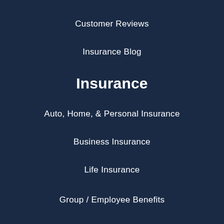Customer Reviews
Insurance Blog
Insurance
Auto, Home, & Personal Insurance
Business Insurance
Life Insurance
Group / Employee Benefits